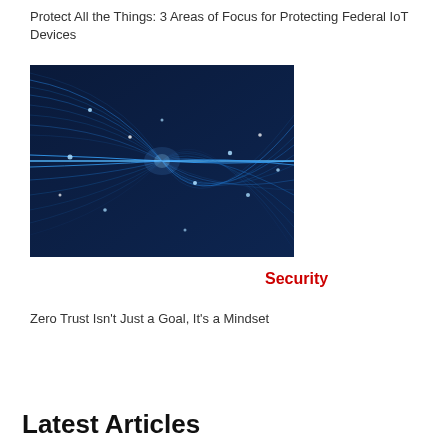Protect All the Things: 3 Areas of Focus for Protecting Federal IoT Devices
[Figure (photo): Abstract blue glowing fiber optic lines and light streaks on dark navy background, representing network connectivity or IoT data streams.]
Security
Zero Trust Isn't Just a Goal, It's a Mindset
Latest Articles